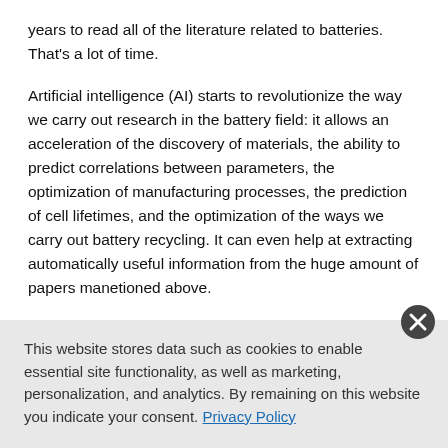years to read all of the literature related to batteries. That's a lot of time.
Artificial intelligence (AI) starts to revolutionize the way we carry out research in the battery field: it allows an acceleration of the discovery of materials, the ability to predict correlations between parameters, the optimization of manufacturing processes, the prediction of cell lifetimes, and the optimization of the ways we carry out battery recycling. It can even help at extracting automatically useful information from the huge amount of papers manetioned above.
In my opinion, AI has tremendous potential to speed up research in the battery field. But it needs to be fed with well-organized data. We need to introduce a standard and a minimum requirement for the
This website stores data such as cookies to enable essential site functionality, as well as marketing, personalization, and analytics. By remaining on this website you indicate your consent. Privacy Policy